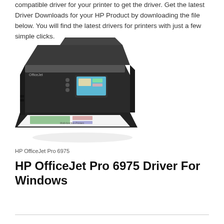compatible driver for your printer to get the driver. Get the latest Driver Downloads for your HP Product by downloading the file below. You will find the latest drivers for printers with just a few simple clicks.
[Figure (photo): Photo of HP OfficeJet Pro 6975 all-in-one printer, black, shown at an angle with printed pages in the output tray.]
HP OfficeJet Pro 6975
HP OfficeJet Pro 6975 Driver For Windows